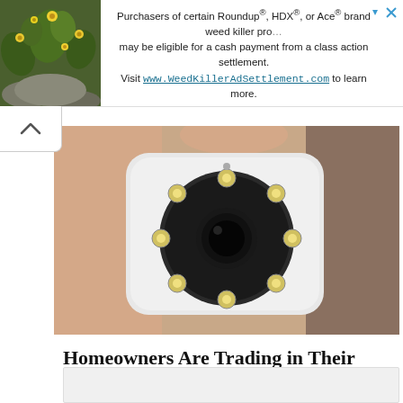[Figure (infographic): Top banner advertisement for WeedKillerAdSettlement.com showing a garden plant image on the left and text about Roundup, HDX, or Ace brand weed killer class action settlement on the right, with close/arrow controls.]
[Figure (photo): Close-up photo of a hand holding a small white security camera with a circular lens surrounded by IR LEDs.]
Homeowners Are Trading in Their Doorbell Cams for This.
Keilini.com